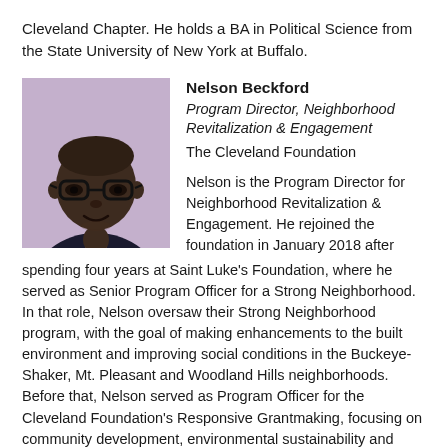Cleveland Chapter. He holds a BA in Political Science from the State University of New York at Buffalo.
[Figure (photo): Professional headshot photo of Nelson Beckford, a Black man wearing glasses and a suit with a tie, against a light purple/grey background.]
Nelson Beckford
Program Director, Neighborhood Revitalization & Engagement
The Cleveland Foundation

Nelson is the Program Director for Neighborhood Revitalization & Engagement. He rejoined the foundation in January 2018 after spending four years at Saint Luke's Foundation, where he served as Senior Program Officer for a Strong Neighborhood. In that role, Nelson oversaw their Strong Neighborhood program, with the goal of making enhancements to the built environment and improving social conditions in the Buckeye-Shaker, Mt. Pleasant and Woodland Hills neighborhoods. Before that, Nelson served as Program Officer for the Cleveland Foundation's Responsive Grantmaking, focusing on community development, environmental sustainability and program management of the Summer Internship program.